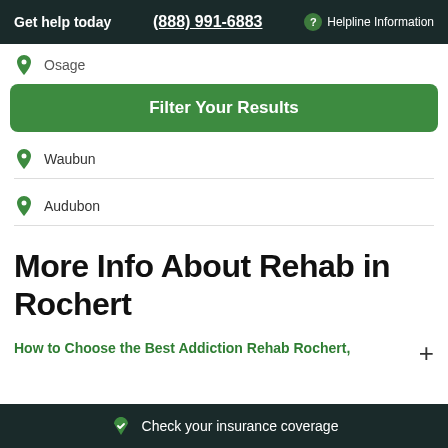Get help today  (888) 991-6883  ? Helpline Information
Osage
Filter Your Results
Waubun
Audubon
More Info About Rehab in Rochert
How to Choose the Best Addiction Rehab Rochert,
Check your insurance coverage